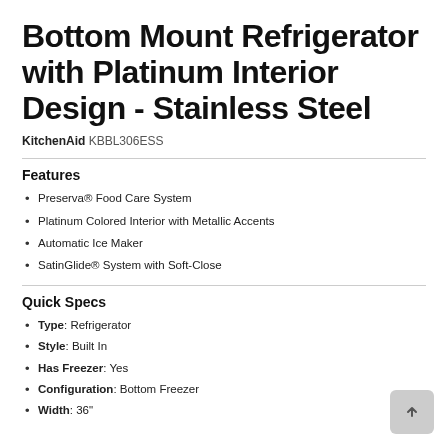Bottom Mount Refrigerator with Platinum Interior Design - Stainless Steel
KitchenAid KBBL306ESS
Features
Preserva® Food Care System
Platinum Colored Interior with Metallic Accents
Automatic Ice Maker
SatinGlide® System with Soft-Close
Quick Specs
Type: Refrigerator
Style: Built In
Has Freezer: Yes
Configuration: Bottom Freezer
Width: 36"